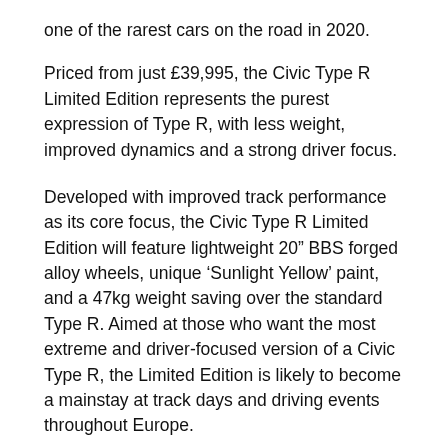one of the rarest cars on the road in 2020.
Priced from just £39,995, the Civic Type R Limited Edition represents the purest expression of Type R, with less weight, improved dynamics and a strong driver focus.
Developed with improved track performance as its core focus, the Civic Type R Limited Edition will feature lightweight 20” BBS forged alloy wheels, unique ‘Sunlight Yellow’ paint, and a 47kg weight saving over the standard Type R. Aimed at those who want the most extreme and driver-focused version of a Civic Type R, the Limited Edition is likely to become a mainstay at track days and driving events throughout Europe.